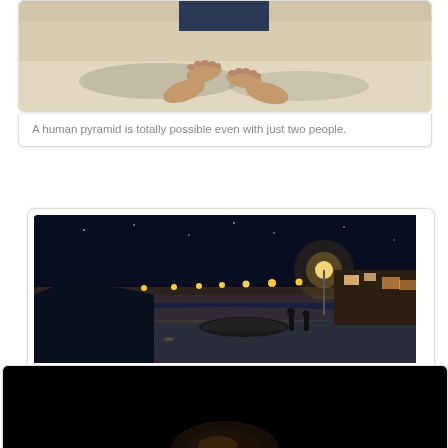[Figure (photo): Partial view of a person on sandy beach from above, feet and hands visible on white sand]
A human pyramid is totally possible even with just two people.
[Figure (photo): Night beach scene with dark blue sky, orange street lights along the shore, a boat on the beach, and buildings lit up on the right side]
[Figure (photo): Dark/black photo with a partially visible finger or hand at the bottom, taken at night]